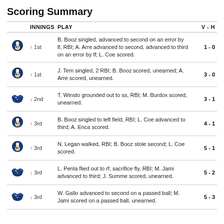Scoring Summary
| INNINGS | PLAY | V - H |
| --- | --- | --- |
| ↑ 1st | B. Booz singled, advanced to second on an error by lf, RBI; A. Arre advanced to second, advanced to third on an error by lf; L. Coe scored. | 1 - 0 |
| ↑ 1st | J. Tem singled, 2 RBI; B. Booz scored, unearned; A. Arre scored, unearned. | 3 - 0 |
| ↓ 2nd | T. Winsto grounded out to ss, RBI; M. Burdox scored, unearned. | 3 - 1 |
| ↑ 3rd | B. Booz singled to left field, RBI; L. Coe advanced to third; A. Enca scored. | 4 - 1 |
| ↑ 3rd | N. Legan walked, RBI; B. Booz stole second; L. Coe scored. | 5 - 1 |
| ↓ 3rd | L. Penla flied out to rf, sacrifice fly, RBI; M. Jami advanced to third; J. Summe scored, unearned. | 5 - 2 |
| ↓ 3rd | W. Gallo advanced to second on a passed ball; M. Jami scored on a passed ball, unearned. | 5 - 3 |